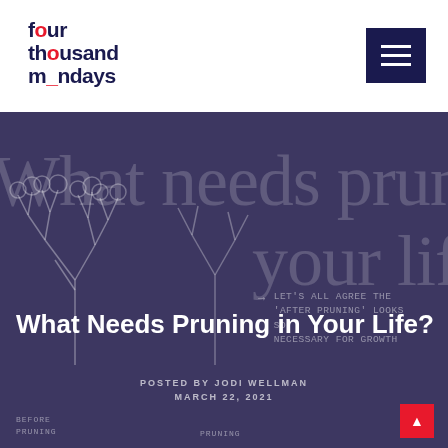four thousand mondays — navigation header
[Figure (logo): Four Thousand Mondays logo in dark navy with red accent circles/underscores replacing letters]
[Figure (illustration): Dark purple/indigo hero image with large faded serif text 'What needs pruning in your life?' and hand-drawn tree illustrations showing before and after pruning states. Arrow annotation reads 'LET'S ALL AGREE THE AFTER PRUNING LOOKS SO NECESSARY FOR GROWTH']
What Needs Pruning in Your Life?
POSTED BY JODI WELLMAN
MARCH 22, 2021